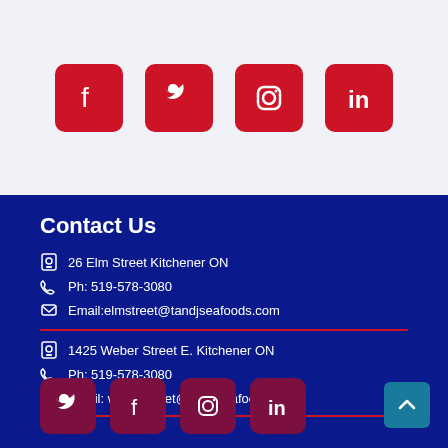[Figure (infographic): Social media icon buttons (Facebook, Twitter, Instagram, LinkedIn) in red rounded squares on light gray background]
Contact Us
26 Elm Street Kitchener ON
Ph: 519-578-3080
Email:elmstreet@tandjseafoods.com
1425 Weber Street E. Kitchener ON
Ph: 519-578-3080
Email: weberstreet@tandjseafoods.com
[Figure (infographic): Social media icon buttons (Twitter, Facebook, Instagram, LinkedIn) in dark red/maroon rounded squares at bottom of page]